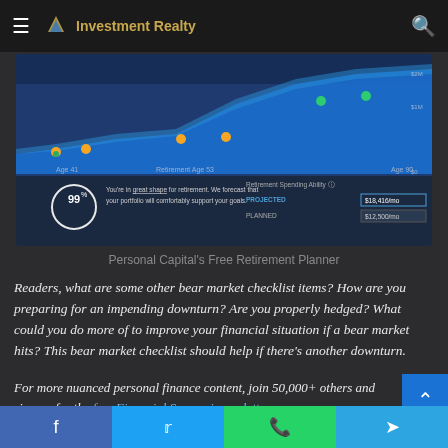Investment Realty
[Figure (screenshot): Personal Capital retirement planner screenshot showing a chart with age timeline from Age 41 to Age 90, projected vs planned retirement spending ability, 99% score, and text 'You're in great shape for retirement. We forecast that your portfolio will comfortably support your goals.']
Personal Capital's Free Retirement Planner
Readers, what are some other bear market checklist items? How are you preparing for an impending downturn? Are you properly hedged? What could you do more of to improve your financial situation if a bear market hits? This bear market checklist should help if there's another downturn.
For more nuanced personal finance content, join 50,000+ others and sign up for the free Financial Samurai newsletter
Facebook Twitter WhatsApp Telegram